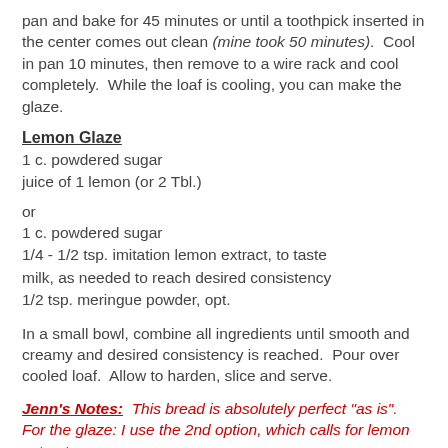pan and bake for 45 minutes or until a toothpick inserted in the center comes out clean (mine took 50 minutes).  Cool in pan 10 minutes, then remove to a wire rack and cool completely.  While the loaf is cooling, you can make the glaze.
Lemon Glaze
1 c. powdered sugar
juice of 1 lemon (or 2 Tbl.)
or
1 c. powdered sugar
1/4 - 1/2 tsp. imitation lemon extract, to taste
milk, as needed to reach desired consistency
1/2 tsp. meringue powder, opt.
In a small bowl, combine all ingredients until smooth and creamy and desired consistency is reached.  Pour over cooled loaf.  Allow to harden, slice and serve.
Jenn's Notes:  This bread is absolutely perfect "as is".  For the glaze: I use the 2nd option, which calls for lemon extract